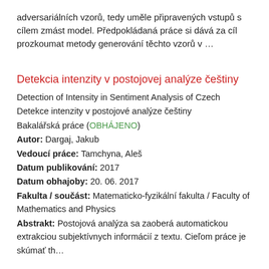adversariálních vzorů, tedy uměle připravených vstupů s cílem zmást model. Předpokládaná práce si dává za cíl prozkoumat metody generování těchto vzorů v …
Detekcia intenzity v postojovej analýze češtiny
Detection of Intensity in Sentiment Analysis of Czech
Detekce intenzity v postojové analýze češtiny
Bakalářská práce (OBHÁJENO)
Autor: Dargaj, Jakub
Vedoucí práce: Tamchyna, Aleš
Datum publikování: 2017
Datum obhajoby: 20. 06. 2017
Fakulta / součást: Matematicko-fyzikální fakulta / Faculty of Mathematics and Physics
Abstrakt: Postojová analýza sa zaoberá automatickou extrakciou subjektívnych informácií z textu. Cieľom práce je skúmať th…